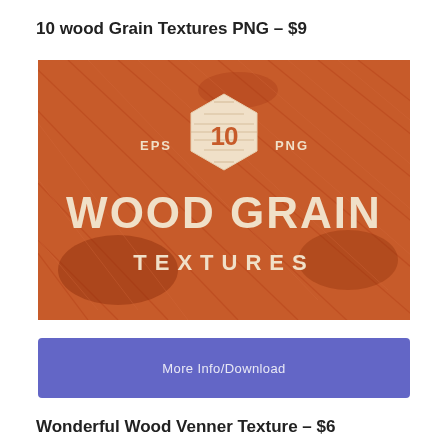10 wood Grain Textures PNG – $9
[Figure (illustration): Wood grain texture product image with orange/rust background showing diagonal wood grain patterns. Centered hexagon badge with '10' inside. Text reads 'EPS' on left and 'PNG' on right of badge. Large bold text 'WOOD GRAIN' and below it 'TEXTURES'.]
More Info/Download
Wonderful Wood Venner Texture – $6